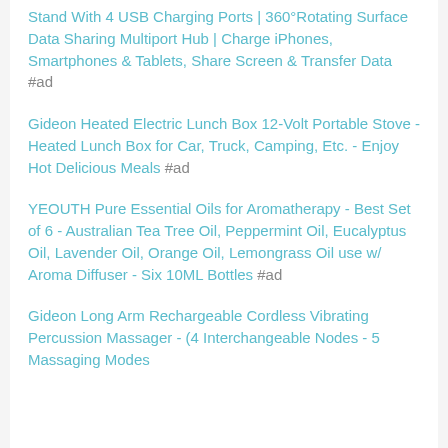Stand With 4 USB Charging Ports | 360°Rotating Surface Data Sharing Multiport Hub | Charge iPhones, Smartphones & Tablets, Share Screen & Transfer Data #ad
Gideon Heated Electric Lunch Box 12-Volt Portable Stove - Heated Lunch Box for Car, Truck, Camping, Etc. - Enjoy Hot Delicious Meals #ad
YEOUTH Pure Essential Oils for Aromatherapy - Best Set of 6 - Australian Tea Tree Oil, Peppermint Oil, Eucalyptus Oil, Lavender Oil, Orange Oil, Lemongrass Oil use w/ Aroma Diffuser - Six 10ML Bottles #ad
Gideon Long Arm Rechargeable Cordless Vibrating Percussion Massager - (4 Interchangeable Nodes - 5 Massaging Modes